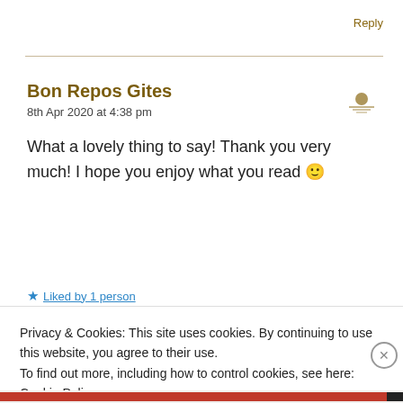Reply
Bon Repos Gites
8th Apr 2020 at 4:38 pm
What a lovely thing to say! Thank you very much! I hope you enjoy what you read 🙂
★ Liked by 1 person
Privacy & Cookies: This site uses cookies. By continuing to use this website, you agree to their use.
To find out more, including how to control cookies, see here: Cookie Policy
Close and accept